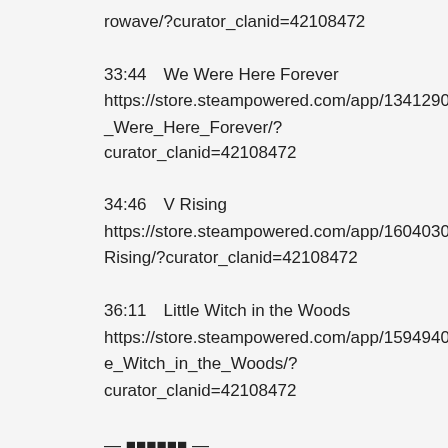rowave/?curator_clanid=42108472
33:44　We Were Here Forever　
https://store.steampowered.com/app/1341290/We_Were_Here_Forever/?curator_clanid=42108472
34:46　V Rising　
https://store.steampowered.com/app/1604030/V_Rising/?curator_clanid=42108472
36:11　Little Witch in the Woods　
https://store.steampowered.com/app/1594940/Little_Witch_in_the_Woods/?curator_clanid=42108472
— ■■■■■■ —